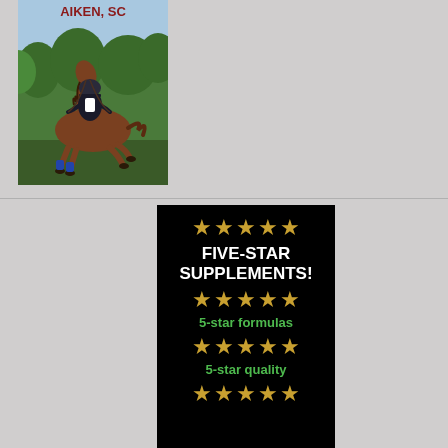[Figure (photo): Photo of a horse and rider jumping cross-country, with text 'AIKEN, SC' at the top in dark red/maroon letters. Green trees visible in background.]
[Figure (infographic): Black background advertisement for 'FIVE-STAR SUPPLEMENTS!' with rows of five golden stars and green text reading '5-star formulas', '5-star quality'. Bold white text for the main heading.]